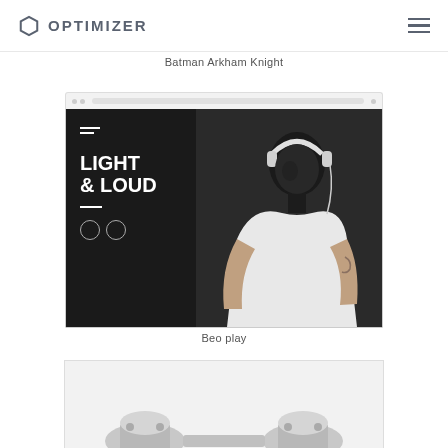OPTIMIZER
Batman Arkham Knight
[Figure (screenshot): Screenshot of a website/app titled 'LIGHT & LOUD' with a dark background, showing a person wearing headphones in a black and white style. Sidebar has menu icon, bold text 'LIGHT & LOUD', a divider, and two circle icons.]
Beo play
[Figure (photo): Partial view of a bottom image, appears to be mechanical/product photography on light background]